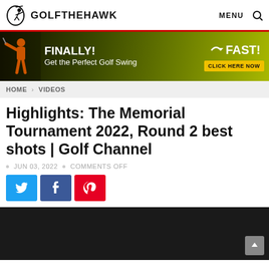GOLFTHEHAWK  MENU
[Figure (infographic): Golf swing advertisement banner: FINALLY! Get the Perfect Golf Swing — FAST! CLICK HERE NOW]
HOME > VIDEOS
Highlights: The Memorial Tournament 2022, Round 2 best shots | Golf Channel
JUN 03, 2022 • COMMENTS OFF
[Figure (infographic): Social share buttons: Twitter (blue), Facebook (dark blue), Pinterest (red)]
[Figure (screenshot): Dark video embed area]